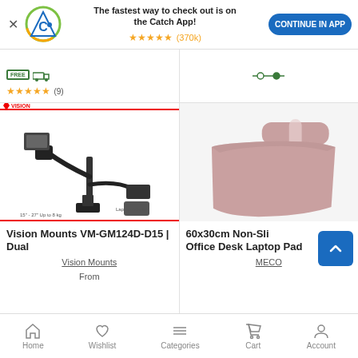[Figure (screenshot): App download banner with Catch logo, 5-star rating (370k reviews), text 'The fastest way to check out is on the Catch App!', and 'CONTINUE IN APP' button]
[Figure (photo): Partial product listing showing free shipping badge, green truck icon, 5 stars (9 reviews)]
[Figure (photo): Partial product listing right side showing green filter/slider icon]
[Figure (photo): Vision Mounts VM-GM124D-D15 dual monitor arm product image with Vision brand banner]
Vision Mounts VM-GM124D-D15 | Dual
Vision Mounts
[Figure (photo): 60x30cm Non-Slip Office Desk Laptop Pad in pink/rose color, rolled up]
60x30cm Non-Sli Office Desk Laptop Pad
MECO
From
Home  Wishlist  Categories  Cart  Account